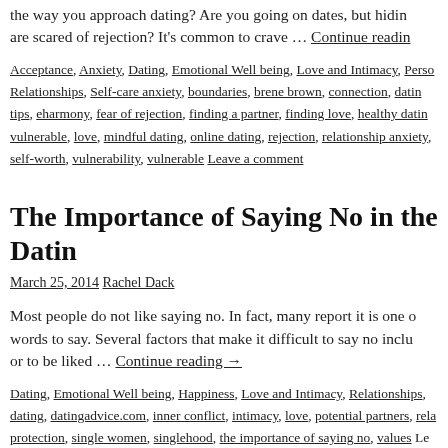the way you approach dating? Are you going on dates, but hiding because are scared of rejection? It's common to crave … Continue reading
Acceptance, Anxiety, Dating, Emotional Well being, Love and Intimacy, Perso Relationships, Self-care anxiety, boundaries, brene brown, connection, dating tips, eharmony, fear of rejection, finding a partner, finding love, healthy dating vulnerable, love, mindful dating, online dating, rejection, relationship anxiety, self-worth, vulnerability, vulnerable Leave a comment
The Importance of Saying No in the Datin
March 25, 2014 Rachel Dack
Most people do not like saying no. In fact, many report it is one o words to say. Several factors that make it difficult to say no inclu or to be liked … Continue reading →
Dating, Emotional Well being, Happiness, Love and Intimacy, Relationships, dating, datingadvice.com, inner conflict, intimacy, love, potential partners, rela protection, single women, singlehood, the importance of saying no, values Le